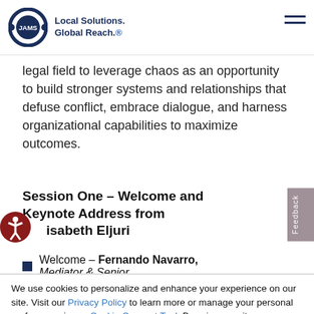JAMS | Local Solutions. Global Reach.
legal field to leverage chaos as an opportunity to build stronger systems and relationships that defuse conflict, embrace dialogue, and harness organizational capabilities to maximize outcomes.
Session One – Welcome and Keynote Address from Isabel Eljuri
Welcome – Fernando Navarro, Mediator & Senior
We use cookies to personalize and enhance your experience on our site. Visit our Privacy Policy to learn more or manage your personal preferences in our Cookie Consent Tool. By using our site, you agree to our use of cookies.